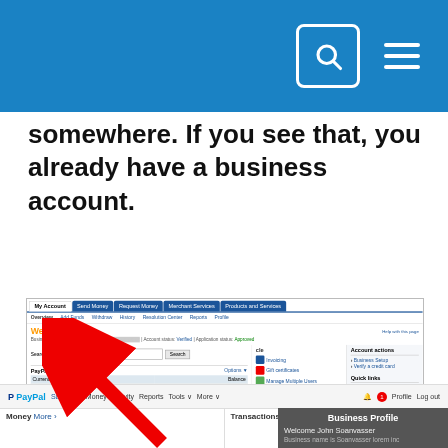[Figure (screenshot): Blue header bar with search icon in white-bordered box and hamburger menu icon]
somewhere. If you see that, you already have a business account.
[Figure (screenshot): PayPal business account dashboard screenshot showing My Account tab, Welcome message, PayPal balance of $2,803.18 USD, View transactions section, Account actions and Quick links panel, with a large red arrow pointing to the top area]
[Figure (screenshot): Bottom PayPal navigation bar with Summary, Money, Activity, Reports, Tools, More tabs and profile/logout buttons, and a Business Profile popup showing Welcome John Soanvasser]